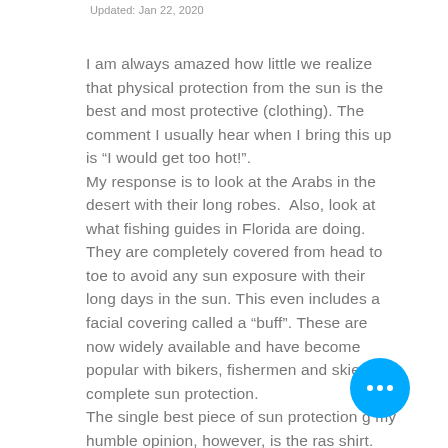Updated: Jan 22, 2020
I am always amazed how little we realize that physical protection from the sun is the best and most protective (clothing). The comment I usually hear when I bring this up is “I would get too hot!”.
My response is to look at the Arabs in the desert with their long robes.  Also, look at what fishing guides in Florida are doing. They are completely covered from head to toe to avoid any sun exposure with their long days in the sun. This even includes a facial covering called a “buff”. These are now widely available and have become popular with bikers, fishermen and skiers for complete sun protection.
The single best piece of sun protection g... my humble opinion, however, is the ras... shirt. This shirt, made of tight fitting lycra, is